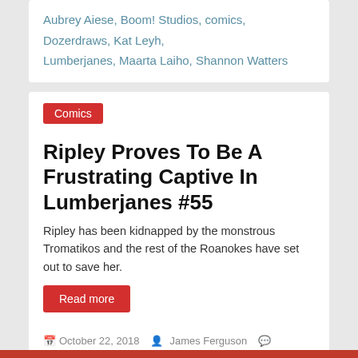Aubrey Aiese, Boom! Studios, comics, Dozerdraws, Kat Leyh, Lumberjanes, Maarta Laiho, Shannon Watters
Comics
Ripley Proves To Be A Frustrating Captive In Lumberjanes #55
Ripley has been kidnapped by the monstrous Tromatikos and the rest of the Roanokes have set out to save her.
Read more
October 22, 2018   James Ferguson   0 Comment
Aubrey Aiese, Boom! Studios, comics, Dozerdraws, Kat Leyh, Lumberjanes, Maarta Laiho, Shannon Watters